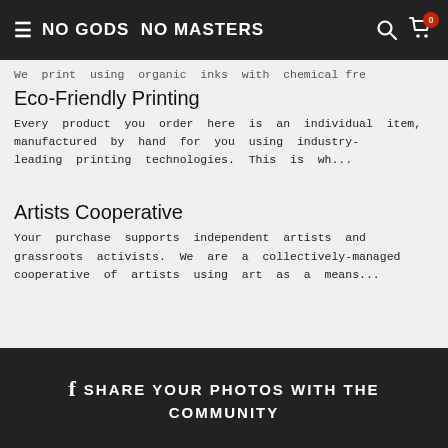NO GODS NO MASTERS
We print using organic inks with chemical fr...
Eco-Friendly Printing
Every product you order here is an individual item, manufactured by hand for you using industry-leading printing technologies. This is wh...
Artists Cooperative
Your purchase supports independent artists and grassroots activists. We are a collectively-managed cooperative of artists using art as a means...
f SHARE YOUR PHOTOS WITH THE COMMUNITY